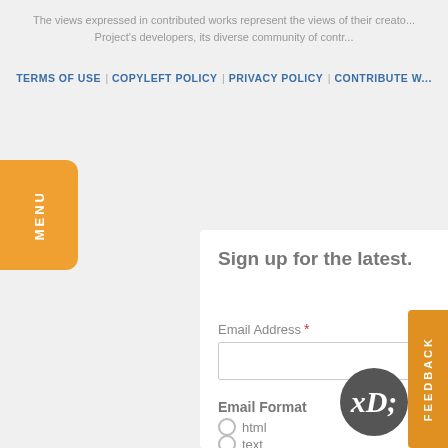The views expressed in contributed works represent the views of their creators, not the Project's developers, its diverse community of contributors, or...
TERMS OF USE | COPYLEFT POLICY | PRIVACY POLICY | CONTRIBUTE W...
MENU
Sign up for the latest.
Email Address *
Email Format
html
text
FEEDBACK